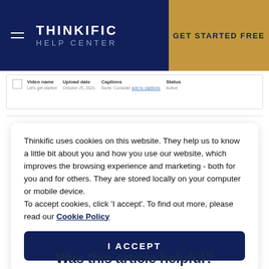THINKIFIC HELP CENTER | GET STARTED FREE
[Figure (screenshot): Screenshot of a video management table with columns: Video name, Upload date, Captions, Status. Row shows: Let's get started, October 25, 2021, None: Consider add to captions (link), Active]
Thinkific uses cookies on this website. They help us to know a little bit about you and how you use our website, which improves the browsing experience and marketing - both for you and for others. They are stored locally on your computer or mobile device.
To accept cookies, click 'I accept'. To find out more, please read our Cookie Policy
I ACCEPT
Was this article helpful?